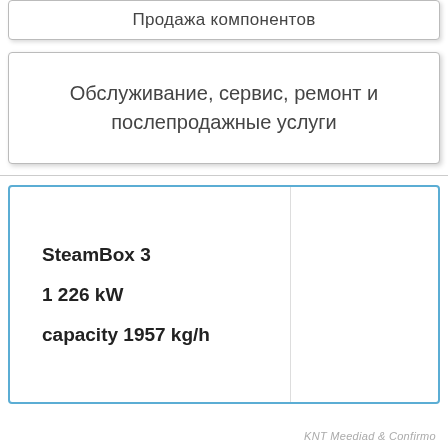Продажа компонентов
Обслуживание, сервис, ремонт и послепродажные услуги
SteamBox 3
1 226 kW
capacity 1957 kg/h
KNT Meediad & Confirmo